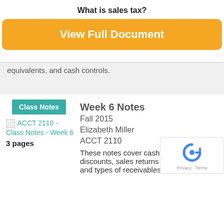What is sales tax?
[Figure (other): Orange 'View Full Document' button]
equivalents, and cash controls.
Class Notes
Week 6 Notes
Fall 2015
Elizabeth Miller
ACCT 2110
[Figure (other): Broken image thumbnail for ACCT 2110 - Class Notes - Week 6]
ACCT 2110 - Class Notes - Week 6
3 pages
These notes cover cash controls, sales discounts, sales returns and allowances, and types of receivables.